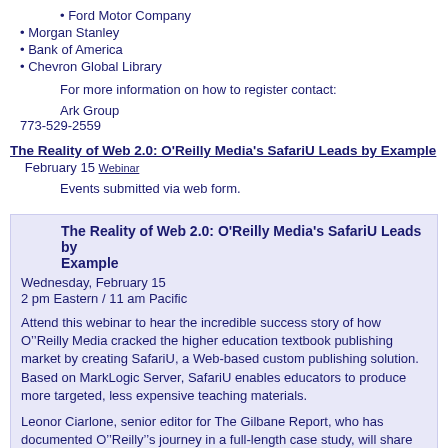• Ford Motor Company
• Morgan Stanley
• Bank of America
• Chevron Global Library
For more information on how to register contact:
Ark Group
773-529-2559
The Reality of Web 2.0: O'Reilly Media's SafariU Leads by Example
February 15 Webinar
Events submitted via web form.
The Reality of Web 2.0: O'Reilly Media's SafariU Leads by Example
Wednesday, February 15
2 pm Eastern / 11 am Pacific
Attend this webinar to hear the incredible success story of how O’Reilly Media cracked the higher education textbook publishing market by creating SafariU, a Web-based custom publishing solution. Based on MarkLogic Server, SafariU enables educators to produce more targeted, less expensive teaching materials.
Leonor Ciarlone, senior editor for The Gilbane Report, who has documented O’Reilly’s journey in a full-length case study, will share her insight and findings, and you’ll hear a firsthand account from O’Reilly’s chief information officer, C.J. Rayhill.
What you will learn: